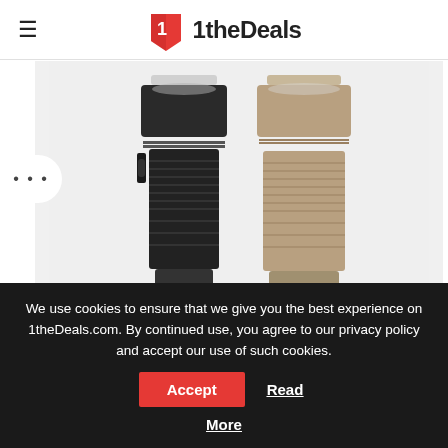1theDeals
[Figure (photo): Two flashlights side by side — one black and one tan/gold — on a light gray background. Both are compact cylindrical flashlights with textured grip bodies and side-mounted buttons.]
We use cookies to ensure that we give you the best experience on 1theDeals.com. By continued use, you agree to our privacy policy and accept our use of such cookies.
Accept
Read More